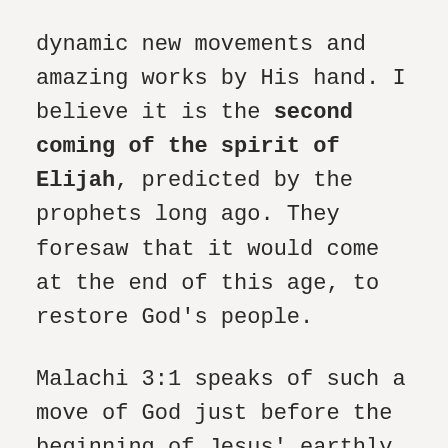dynamic new movements and amazing works by His hand. I believe it is the second coming of the spirit of Elijah, predicted by the prophets long ago. They foresaw that it would come at the end of this age, to restore God's people.
Malachi 3:1 speaks of such a move of God just before the beginning of Jesus' earthly ministry. The spirit of Elijah is a “message with power” to catch the attention of God's distracted and confused people, and prepare them for the arrival of Messiah. The prophet declares that this coming preparation will be